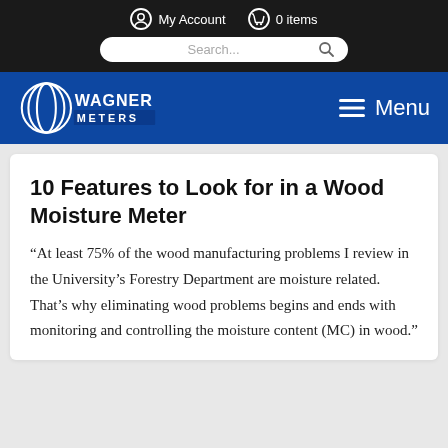My Account   0 items   Search...
[Figure (logo): Wagner Meters logo with concentric oval icon and text WAGNER METERS, Menu button with hamburger icon]
10 Features to Look for in a Wood Moisture Meter
“At least 75% of the wood manufacturing problems I review in the University’s Forestry Department are moisture related. That’s why eliminating wood problems begins and ends with monitoring and controlling the moisture content (MC) in wood.”